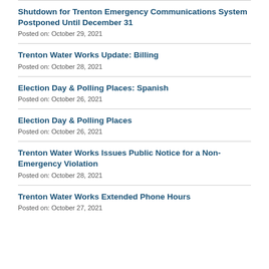Shutdown for Trenton Emergency Communications System Postponed Until December 31
Posted on: October 29, 2021
Trenton Water Works Update: Billing
Posted on: October 28, 2021
Election Day & Polling Places: Spanish
Posted on: October 26, 2021
Election Day & Polling Places
Posted on: October 26, 2021
Trenton Water Works Issues Public Notice for a Non-Emergency Violation
Posted on: October 28, 2021
Trenton Water Works Extended Phone Hours
Posted on: October 27, 2021